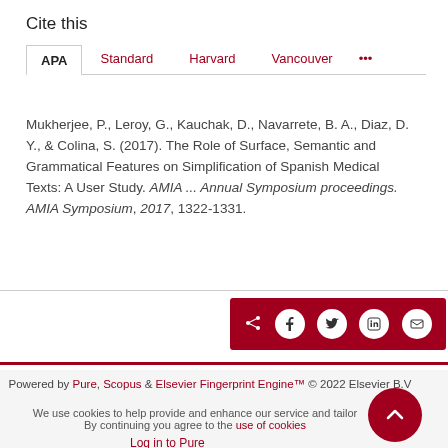Cite this
APA | Standard | Harvard | Vancouver | ...
Mukherjee, P., Leroy, G., Kauchak, D., Navarrete, B. A., Diaz, D. Y., & Colina, S. (2017). The Role of Surface, Semantic and Grammatical Features on Simplification of Spanish Medical Texts: A User Study. AMIA ... Annual Symposium proceedings. AMIA Symposium, 2017, 1322-1331.
[Figure (other): Share bar with icons for share, Facebook, Twitter, LinkedIn, and email on dark red background]
Powered by Pure, Scopus & Elsevier Fingerprint Engine™ © 2022 Elsevier B.V
We use cookies to help provide and enhance our service and tailor content. By continuing you agree to the use of cookies
Log in to Pure